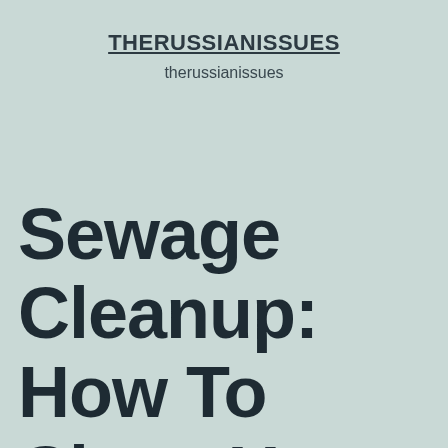THERUSSIANISSUES
therussianissues
Sewage Cleanup: How To Clean Up Sewage In